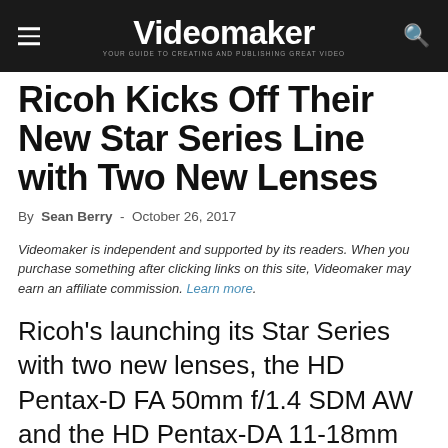Videomaker — YOUR GUIDE TO CREATING AND PUBLISHING GREAT VIDEO
Ricoh Kicks Off Their New Star Series Line with Two New Lenses
By Sean Berry - October 26, 2017
Videomaker is independent and supported by its readers. When you purchase something after clicking links on this site, Videomaker may earn an affiliate commission. Learn more.
Ricoh's launching its Star Series with two new lenses, the HD Pentax-D FA 50mm f/1.4 SDM AW and the HD Pentax-DA 11-18mm f/2.8. Ricoh unveiled the new line of lenses at this week's Photo Plus Expo 2017